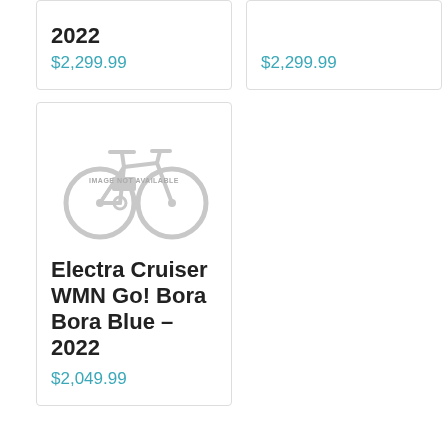2022
$2,299.99
$2,299.99
[Figure (illustration): Gray bicycle silhouette placeholder image with text IMAGE NOT AVAILABLE]
Electra Cruiser WMN Go! Bora Bora Blue – 2022
$2,049.99